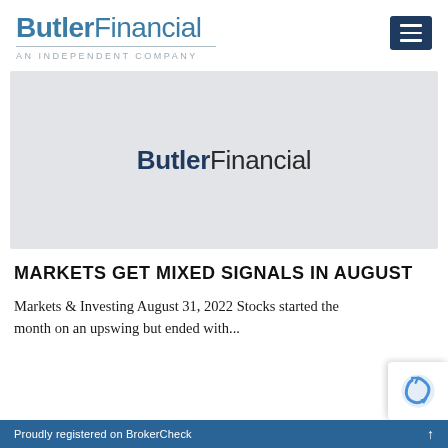ButlerFinancial — AN INDEPENDENT COMPANY
[Figure (logo): ButlerFinancial logo centered on a light gray rectangular hero banner]
MARKETS GET MIXED SIGNALS IN AUGUST
Markets & Investing August 31, 2022 Stocks started the month on an upswing but ended with...
Proudly registered on BrokerCheck ↑